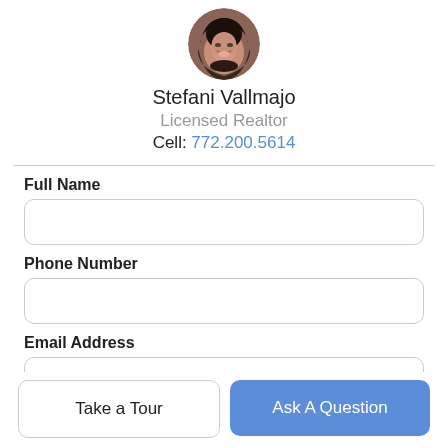[Figure (photo): Circular profile photo of Stefani Vallmajo, a woman with dark hair, smiling]
Stefani Vallmajo
Licensed Realtor
Cell: 772.200.5614
Full Name
Phone Number
Email Address
Take a Tour
Ask A Question